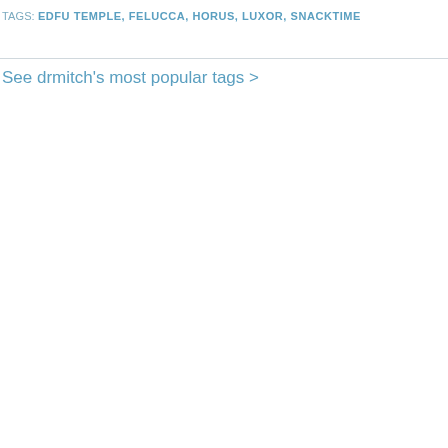TAGS: EDFU TEMPLE, FELUCCA, HORUS, LUXOR, SNACKTIME
See drmitch's most popular tags >